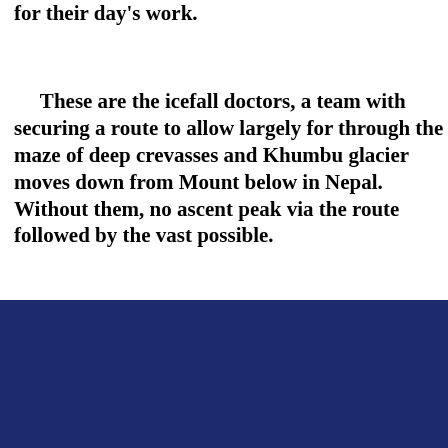for their day's work.
These are the icefall doctors, a team with securing a route to allow largely for through the maze of deep crevasses and Khumbu glacier moves down from Mount below in Nepal. Without them, no ascent peak via the route followed by the vast possible.
[Figure (photo): Dark navy blue photographic image, partially visible at the bottom of the page.]